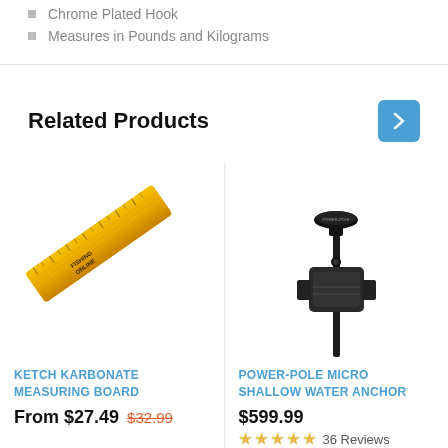Chrome Plated Hook
Measures in Pounds and Kilograms
Related Products
[Figure (photo): Yellow Ketch Karbonate Measuring Board, angled ruler with markings and 'FISHING ONLINE' text]
KETCH KARBONATE MEASURING BOARD
From $27.49  $32.99
[Figure (photo): Black Power-Pole Micro Shallow Water Anchor device mounted on a pole]
POWER-POLE MICRO SHALLOW WATER ANCHOR
$599.99
36 Reviews